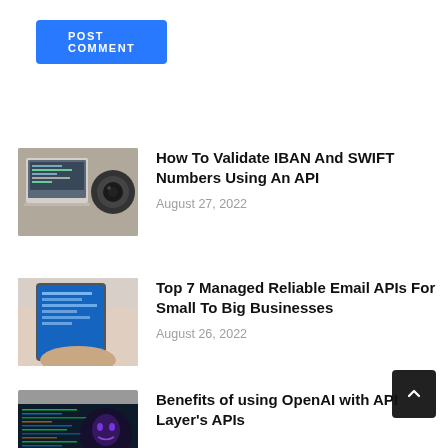POST COMMENT
[Figure (photo): Laptop with code on screen next to a camera lens on a wooden desk]
How To Validate IBAN And SWIFT Numbers Using An API
August 27, 2022
[Figure (photo): Person holding a tablet with a blue screen]
Top 7 Managed Reliable Email APIs For Small To Big Businesses
August 26, 2022
[Figure (photo): Dark background with code and an AI-looking face]
Benefits of using OpenAI with API Layer's APIs